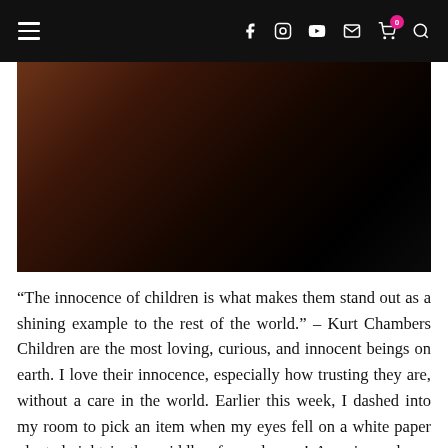[Figure (screenshot): Website navigation bar with hamburger menu, social icons (Facebook, Instagram, YouTube, Email, Cart with badge showing 0, Search), dark background]
[Figure (photo): Dark moody photo with warm brown and black tones, appears to show a person or object in very low light]
“The innocence of children is what makes them stand out as a shining example to the rest of the world.” – Kurt Chambers Children are the most loving, curious, and innocent beings on earth. I love their innocence, especially how trusting they are, without a care in the world. Earlier this week, I dashed into my room to pick an item when my eyes fell on a white paper planted right in the middle of my dresser! A curious glance at…